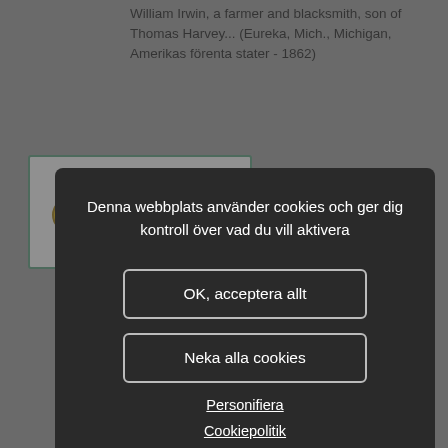William Irwin, a farmer and blacksmith, son of Thomas Harvey... (Eureka, Mich., Michigan, Amerikas förenta stater - 1862)
[Figure (screenshot): A cookie consent modal overlay on a website. The modal has a dark background (#2a2a2a) with white text reading 'Denna webbplats använder cookies och ger dig kontroll över vad du vill aktivera'. It contains two bordered buttons: 'OK, acceptera allt' and 'Neka alla cookies', and two underlined links: 'Personifiera' and 'Cookiepolitik'. Behind the modal, partially visible genealogy search results with teal-bordered cards featuring gold P icons and text snippets are visible.]
prominent residents of Franklin Forks. Pier father served for four years as one... (December, Pennsylvania, Amerikas förenta stater - 1888)